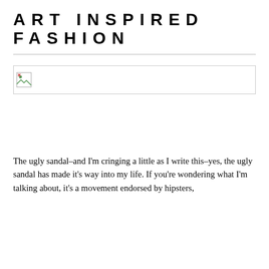ART INSPIRED FASHION
[Figure (photo): Broken/unloaded image placeholder with small broken image icon in top-left corner]
The ugly sandal–and I'm cringing a little as I write this–yes, the ugly sandal has made it's way into my life. If you're wondering what I'm talking about, it's a movement endorsed by hipsters,